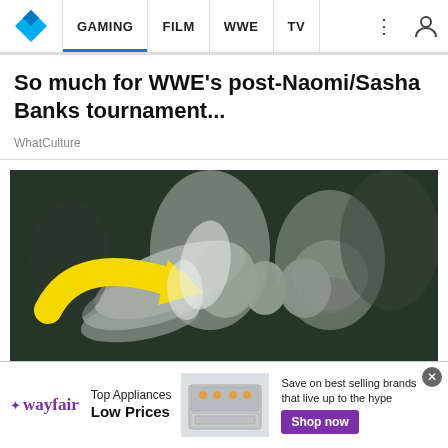GAMING | FILM | WWE | TV
So much for WWE's post-Naomi/Sasha Banks tournament...
WhatCulture
[Figure (photo): Black and white photo with green tint showing two wrestlers, with a large yellow arrow overlaid pointing to one of them.]
[Figure (screenshot): Wayfair advertisement banner: Top Appliances Low Prices, Save on best selling brands that live up to the hype, Shop now button, image of a stove/range appliance.]